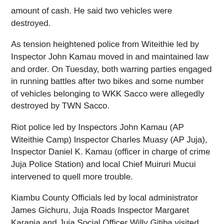amount of cash. He said two vehicles were destroyed.
As tension heightened police from Witeithie led by Inspector John Kamau moved in and maintained law and order. On Tuesday, both warring parties engaged in running battles after two bikes and some number of vehicles belonging to WKK Sacco were allegedly destroyed by TWN Sacco.
Riot police led by Inspectors John Kamau (AP Witeithie Camp) Inspector Charles Muasy (AP Juja), Inspector Daniel K. Kamau (officer in charge of crime Juja Police Station) and local Chief Muiruri Mucui intervened to quell more trouble.
Kiambu County Officials led by local administrator James Gichuru, Juja Roads Inspector Margaret Karanja and Juja Social Officer Willy Gitiba visited the scene and convened a crisis meeting between the officers and the warring parties to resolve the matter. The meeting was punctuated by counter accusations. John Kamau, Wikiki Sacco Secretary said they were being abused, attacked and belittled by their rivals. He said their competitor was also lowering fare threatening the bodaboda business.